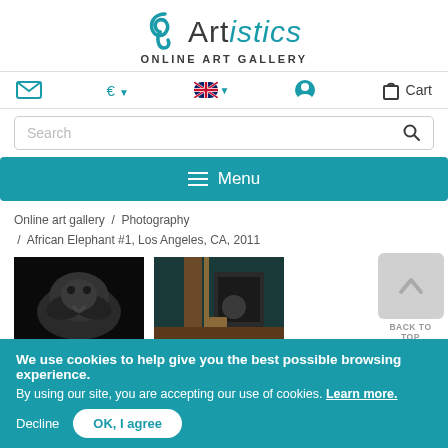[Figure (logo): Artistics Online Art Gallery logo with teal swirl icon]
ONLINE ART GALLERY
✉  € ▾  🇬🇧 ▾  👤  🛍 Cart
Search
☰ Menu
Online art gallery / Photography / African Elephant #1, Los Angeles, CA, 2011
[Figure (photo): Black and white photo of an elephant head]
[Figure (photo): Photo of an animal behind a fence in a dark teal background]
BACK TO TOP
We use cookies to help give you the best possible browsing experience. By using our site, you are accepting our use of cookies. Learn more.
Decline  OK, I agree